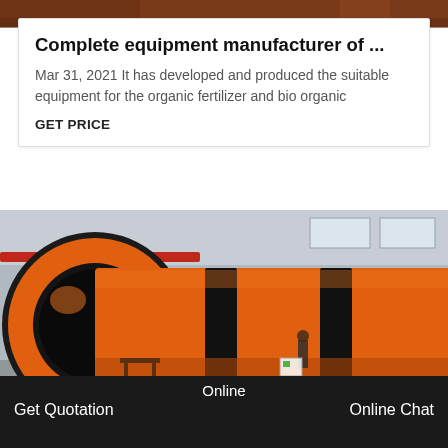[Figure (photo): Top image strip showing industrial/machinery background in reddish-brown tones]
Complete equipment manufacturer of ...
Mar 31, 2021 It has developed and produced the suitable equipment for the organic fertilizer and bio organic
GET PRICE
[Figure (photo): Large orange industrial rotary drum or granulator machine inside a factory/warehouse. The machine is orange with black bands, photographed from the front end showing the circular opening, extending back into the factory space.]
Online
Get Quotation    Online Chat